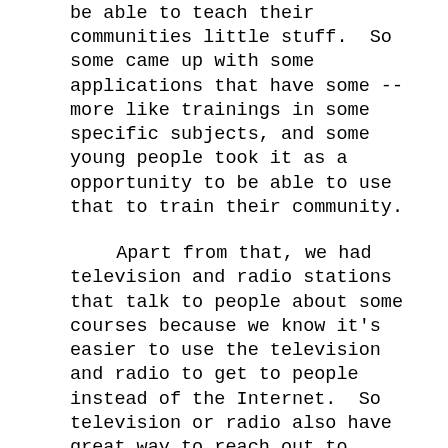be able to teach their communities little stuff.  So some came up with some applications that have some -- more like trainings in some specific subjects, and some young people took it as a opportunity to be able to use that to train their community.

    Apart from that, we had television and radio stations that talk to people about some courses because we know it's easier to use the television and radio to get to people instead of the Internet.  So television or radio also have great way to reach out to people in our communities that